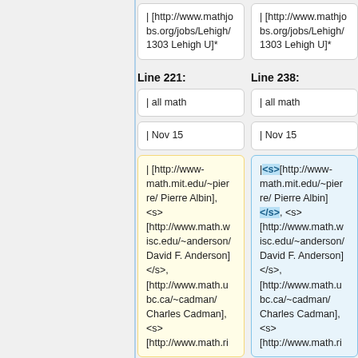| [http://www.mathjobs.org/jobs/Lehigh/1303 Lehigh U]*
| [http://www.mathjobs.org/jobs/Lehigh/1303 Lehigh U]*
Line 221:
Line 238:
| all math
| all math
| Nov 15
| Nov 15
| [http://www-math.mit.edu/~pierre/ Pierre Albin], <s> [http://www.math.wisc.edu/~anderson/ David F. Anderson] </s>, [http://www.math.ubc.ca/~cadman/ Charles Cadman], <s> [http://www.math.ri
|<s>[http://www-math.mit.edu/~pierre/ Pierre Albin] </s>, <s> [http://www.math.wisc.edu/~anderson/ David F. Anderson] </s>, [http://www.math.ubc.ca/~cadman/ Charles Cadman], <s> [http://www.math.ri